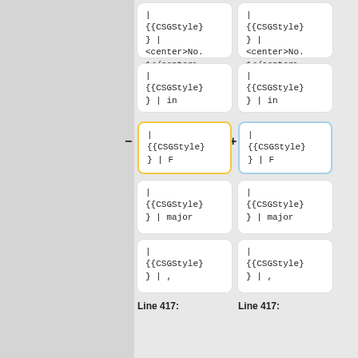[Figure (screenshot): Diff view showing two columns of code boxes with monospace template syntax. Left column has yellow border on third box with minus sign, right column has blue border on third box with plus sign. Each box shows: | {{CSGStyle} } | <center>No. 1</center>, | {{CSGStyle} } | in, | {{CSGStyle} } | F, | {{CSGStyle} } | major, | {{CSGStyle} } | ,]
Line 417:
Line 417: